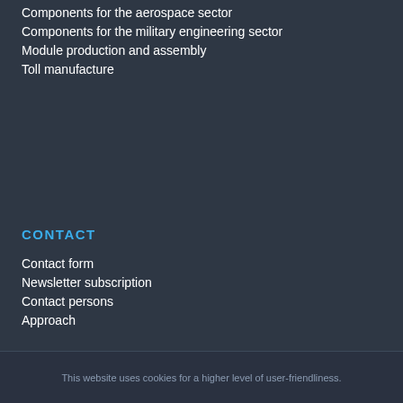Components for the aerospace sector
Components for the military engineering sector
Module production and assembly
Toll manufacture
CONTACT
Contact form
Newsletter subscription
Contact persons
Approach
This website uses cookies for a higher level of user-friendliness.